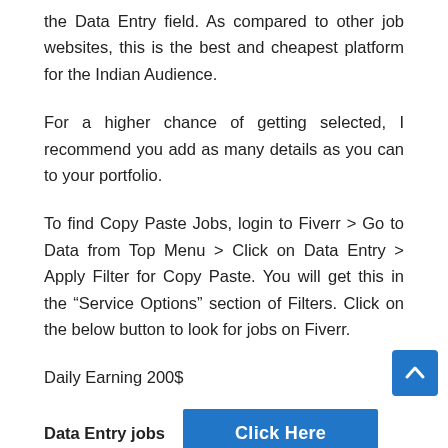the Data Entry field. As compared to other job websites, this is the best and cheapest platform for the Indian Audience.
For a higher chance of getting selected, I recommend you add as many details as you can to your portfolio.
To find Copy Paste Jobs, login to Fiverr > Go to Data from Top Menu > Click on Data Entry > Apply Filter for Copy Paste. You will get this in the “Service Options” section of Filters. Click on the below button to look for jobs on Fiverr.
Daily Earning 200$
Data Entry jobs   [Click Here button]
2. LinkedIn Jobs
LinkedIn Jobs is a completely free platform where you can use filters to find the most suitable jobs in this domain.